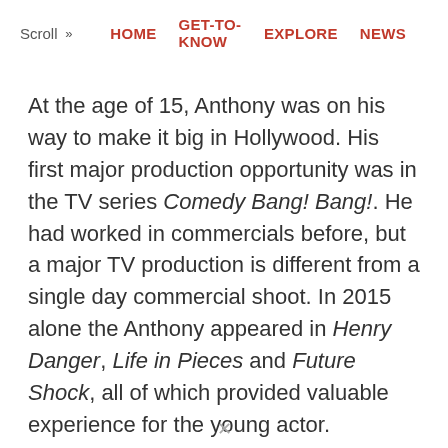Scroll >> HOME  GET-TO-KNOW  EXPLORE  NEWS
At the age of 15, Anthony was on his way to make it big in Hollywood. His first major production opportunity was in the TV series Comedy Bang! Bang!. He had worked in commercials before, but a major TV production is different from a single day commercial shoot. In 2015 alone the Anthony appeared in Henry Danger, Life in Pieces and Future Shock, all of which provided valuable experience for the young actor.